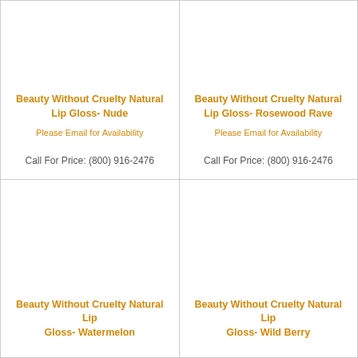Beauty Without Cruelty Natural Lip Gloss- Nude
Please Email for Availability
Call For Price: (800) 916-2476
Beauty Without Cruelty Natural Lip Gloss- Rosewood Rave
Please Email for Availability
Call For Price: (800) 916-2476
Beauty Without Cruelty Natural Lip Gloss- Watermelon
Beauty Without Cruelty Natural Lip Gloss- Wild Berry